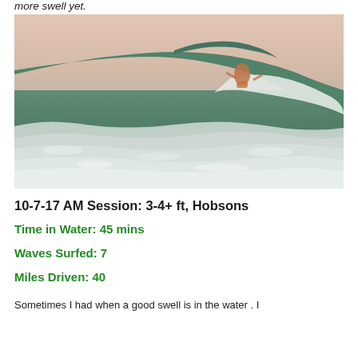more swell yet.
[Figure (photo): A surfer riding a large green ocean wave with white foam, photographed from shore. The sky is hazy and pinkish. The surfer is near the curl of the breaking wave.]
10-7-17 AM Session: 3-4+ ft, Hobsons
Time in Water: 45 mins
Waves Surfed: 7
Miles Driven: 40
Sometimes I had when a good swell is in the water . I